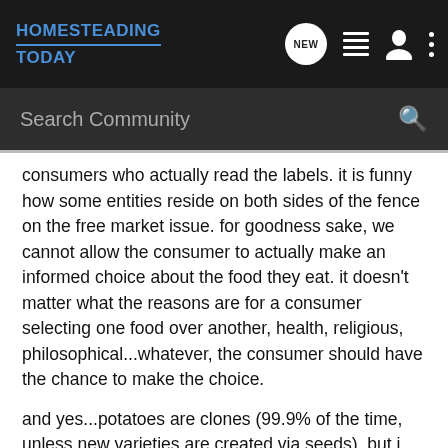HOMESTEADING TODAY
Search Community
consumers who actually read the labels. it is funny how some entities reside on both sides of the fence on the free market issue. for goodness sake, we cannot allow the consumer to actually make an informed choice about the food they eat. it doesn't matter what the reasons are for a consumer selecting one food over another, health, religious, philosophical...whatever, the consumer should have the chance to make the choice.
and yes...potatoes are clones (99.9% of the time, unless new varieties are created via seeds), but i have yet to see cattle reproduce naturally from cloning.
[Figure (screenshot): Advertisement banner: Ad label, image of person kayaking, text 'Retire to the Southeast?', 'Cresswind', 'Learn more']
this mess